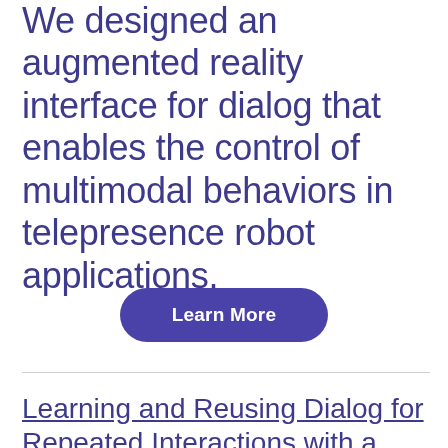We designed an augmented reality interface for dialog that enables the control of multimodal behaviors in telepresence robot applications.
Learn More
Learning and Reusing Dialog for Repeated Interactions with a Situated Social Agent
This paper introduces an embodied agent that self-authors its own dialog for social